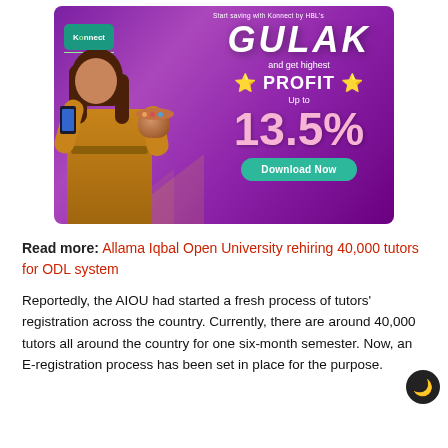[Figure (illustration): Advertisement banner for Konnect by HBL's GULAK savings product. Purple/magenta background with a woman in yellow dress holding a phone and a clay pot. Text reads: 'Start saving with Konnect by HBL's GULAK and get highest PROFIT Up to 13.5%' with a teal 'Download Now' button.]
Read more: Allama Iqbal Open University rehiring 40,000 tutors for ODL system
Reportedly, the AIOU had started a fresh process of tutors' registration across the country. Currently, there are around 40,000 tutors all around the country for one six-month semester. Now, an E-registration process has been set in place for the purpose.